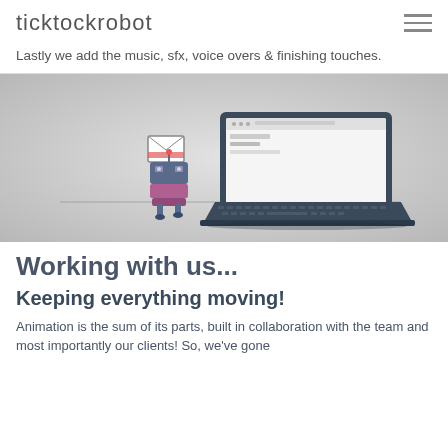ticktockrobot
Lastly we add the music, sfx, voice overs & finishing touches.
[Figure (illustration): A cartoon robot character carrying an envelope walking toward a large laptop computer, on a light gray textured background.]
Working with us...
Keeping everything moving!
Animation is the sum of its parts, built in collaboration with the team and most importantly our clients! So, we've gone